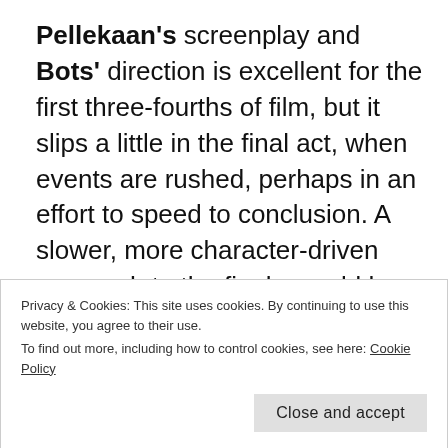Pellekaan's screenplay and Bots' direction is excellent for the first three-fourths of film, but it slips a little in the final act, when events are rushed, perhaps in an effort to speed to conclusion. A slower, more character-driven approach to the finale would have cemented the picture's emotion and thereby helped deliver its themes.
The missteps near the end of Secrets of War do
Privacy & Cookies: This site uses cookies. By continuing to use this website, you agree to their use.
To find out more, including how to control cookies, see here: Cookie Policy